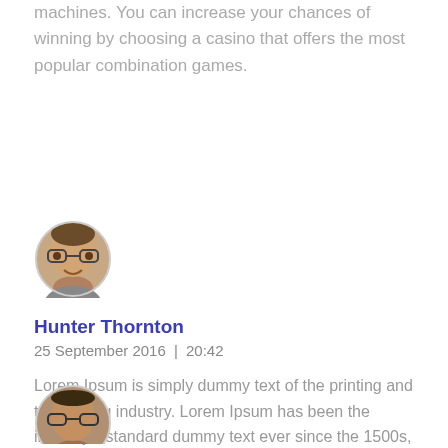machines. You can increase your chances of winning by choosing a casino that offers the most popular combination games.
[Figure (photo): Circular avatar photo of Hunter Thornton, a man with glasses and a slight smile]
Hunter Thornton
25 September 2016  | 20:42
Lorem Ipsum is simply dummy text of the printing and typesetting industry. Lorem Ipsum has been the industry's standard dummy text ever since the 1500s, when an unknown printer took a galley of
Reply
[Figure (photo): Circular avatar photo of a second commenter, partially visible at bottom of page]